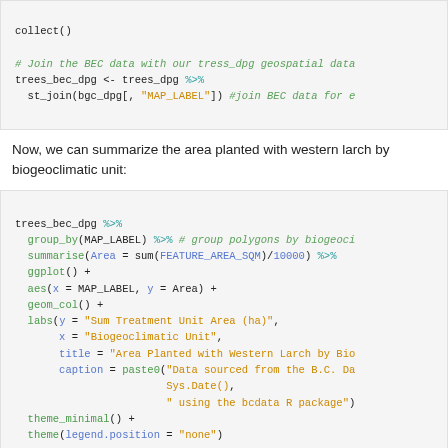[Figure (screenshot): Code block showing collect() and trees_bec_dpg <- trees_dpg %>% st_join(bgc_dpg[, "MAP_LABEL"]) with a comment about joining BEC data]
Now, we can summarize the area planted with western larch by biogeoclimatic unit:
[Figure (screenshot): Code block showing trees_bec_dpg %>% group_by(MAP_LABEL) %>% summarise(Area = sum(FEATURE_AREA_SQM)/10000) %>% ggplot() + aes(x = MAP_LABEL, y = Area) + geom_col() + labs(...) + theme_minimal() + theme(legend.position = "none")]